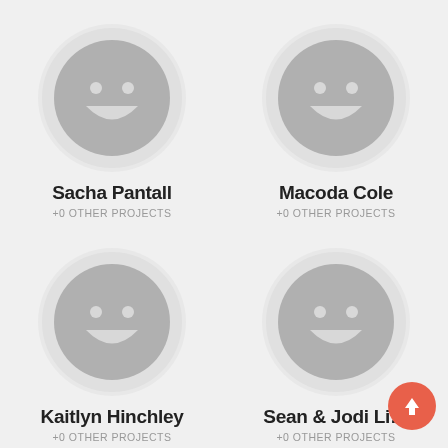[Figure (illustration): Default avatar smiley face icon in grey circle for Sacha Pantall]
Sacha Pantall
+0 OTHER PROJECTS
[Figure (illustration): Default avatar smiley face icon in grey circle for Macoda Cole]
Macoda Cole
+0 OTHER PROJECTS
[Figure (illustration): Default avatar smiley face icon in grey circle for Kaitlyn Hinchley]
Kaitlyn Hinchley
+0 OTHER PROJECTS
[Figure (illustration): Default avatar smiley face icon in grey circle for Sean & Jodi Li...]
Sean & Jodi Li…
+0 OTHER PROJECTS
[Figure (illustration): Orange circular upload/arrow-up button overlay in bottom-right corner]